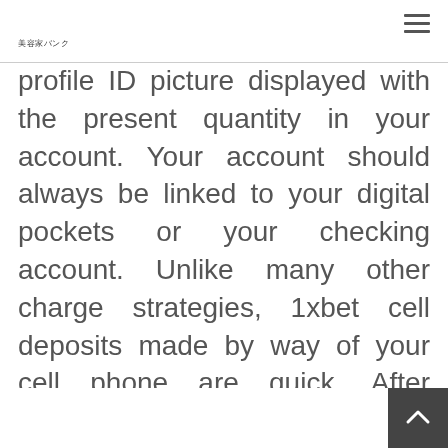美容家バンク
profile ID picture displayed with the present quantity in your account. Your account should always be linked to your digital pockets or your checking account. Unlike many other charge strategies, 1xbet cell deposits made by way of your cell phone are quick. After wagering, the bookmaker might require you to wager the primary bonus quantity at naked minimum odds of 1 . Even now, right here you'll be able to simply depict the visibility of the lively game by making small bets and